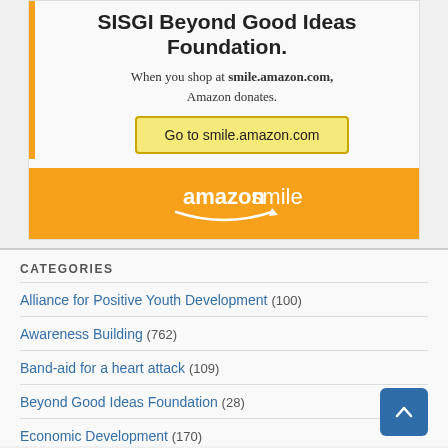SISGI Beyond Good Ideas Foundation.
When you shop at smile.amazon.com, Amazon donates.
Go to smile.amazon.com
[Figure (logo): Amazon Smile logo on orange background with white text 'amazonsmile' and arrow/smile graphic]
CATEGORIES
Alliance for Positive Youth Development (100)
Awareness Building (762)
Band-aid for a heart attack (109)
Beyond Good Ideas Foundation (28)
Economic Development (170)